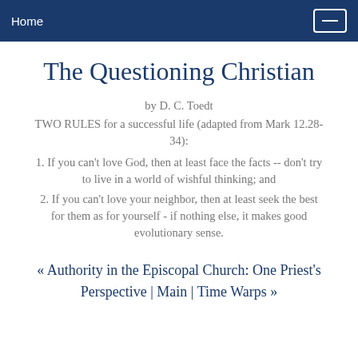Home
The Questioning Christian
by D. C. Toedt
TWO RULES for a successful life (adapted from Mark 12.28-34):
1. If you can't love God, then at least face the facts -- don't try to live in a world of wishful thinking; and
2. If you can't love your neighbor, then at least seek the best for them as for yourself - if nothing else, it makes good evolutionary sense.
« Authority in the Episcopal Church: One Priest's Perspective | Main | Time Warps »